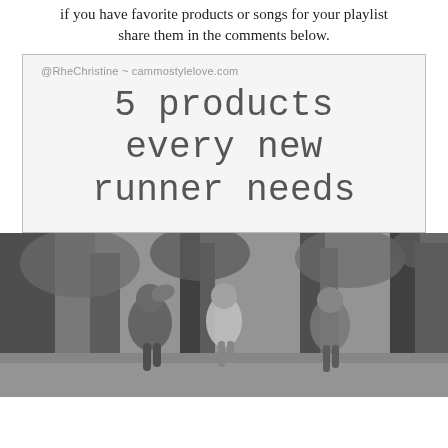if you have favorite products or songs for your playlist share them in the comments below.
[Figure (infographic): White/light gray card with border containing the text '5 products every new runner needs' in a handwritten-style font, with attribution '@RheChristine ~ cammostylelove.com' at the top left]
[Figure (photo): Black and white photograph of three people running through a wooded area, viewed from behind]